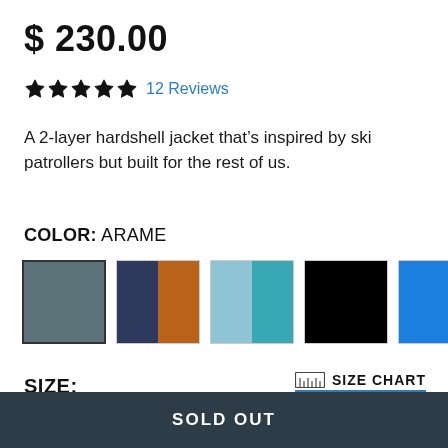$ 230.00
★★★★★ 12 Reviews
A 2-layer hardshell jacket that's inspired by ski patrollers but built for the rest of us.
COLOR: ARAME
[Figure (other): Five color swatches: grey (selected), navy/orange split, light blue/teal split, black, blue]
SIZE:
SIZE CHART
XS S M L XL XXL
SOLD OUT